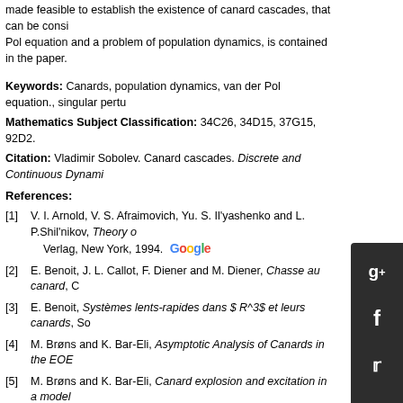made feasible to establish the existence of canard cascades, that can be considered as a generalization of the van der Pol equation and a problem of population dynamics, is contained in the paper.
Keywords: Canards, population dynamics, van der Pol equation., singular perturbations.
Mathematics Subject Classification: 34C26, 34D15, 37G15, 92D2.
Citation: Vladimir Sobolev. Canard cascades. Discrete and Continuous Dynamical Systems...
References:
[1] V. I. Arnold, V. S. Afraimovich, Yu. S. Il'yashenko and L. P.Shil'nikov, Theory of ... Verlag, New York, 1994.
[2] E. Benoit, J. L. Callot, F. Diener and M. Diener, Chasse au canard, Co...
[3] E. Benoit, Systèmes lents-rapides dans $ R^3$ et leurs canards, Soc...
[4] M. Brøns and K. Bar-Eli, Asymptotic Analysis of Canards in the EOE...
[5] M. Brøns and K. Bar-Eli, Canard explosion and excitation in a model...
[6] M. Brøns and R. Kaasen, Canards and mixed-mode oscillations in a m...
[7] M. Diener, "Nessie et Les Canards," Publication IRMA, Strasbourg, 1...
[8] V. Gol'dshtein, A. Zinoviev, V. Sobolev and E. Shchepakina, Criterion for therm... 2119.
[9] G. N. Gorelov and V. A. Sobolev, Duck-trajectories in a thermal explosion pro...
[10] G. N. Gorelov and V. A. Sobolev, Mathematical modeling of critical phenome...